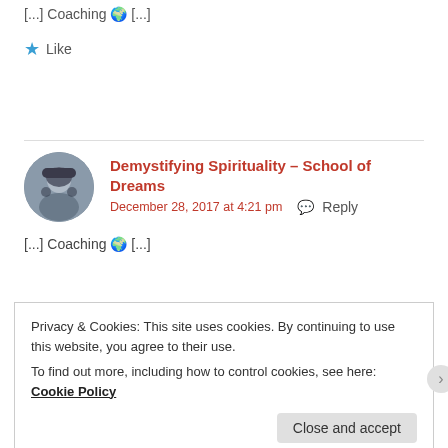[...] Coaching 🌍 [...]
★ Like
Demystifying Spirituality – School of Dreams
December 28, 2017 at 4:21 pm  Reply
[...] Coaching 🌍 [...]
Privacy & Cookies: This site uses cookies. By continuing to use this website, you agree to their use.
To find out more, including how to control cookies, see here: Cookie Policy
Close and accept